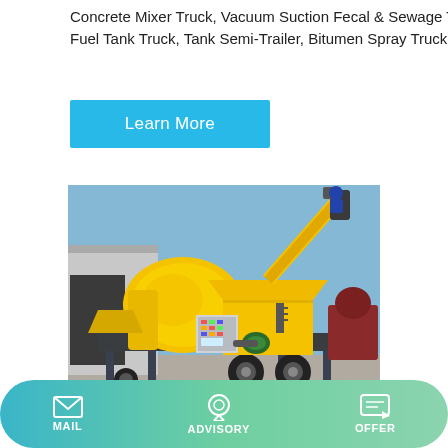Concrete Mixer Truck, Vacuum Suction Fecal & Sewage Trucks, Fuel Tank Truck, Tank Semi-Trailer, Bitumen Spray Truck
Learn More
[Figure (photo): Yellow concrete mixer pump machine (trailer-mounted concrete pump with mixer drum) parked on a paved outdoor area, with a warehouse building in the background. The machine has a yellow drum, a control panel, an auger/conveyor arm, and multiple support legs and wheels.]
MAIL  ADVISORY  OFFER